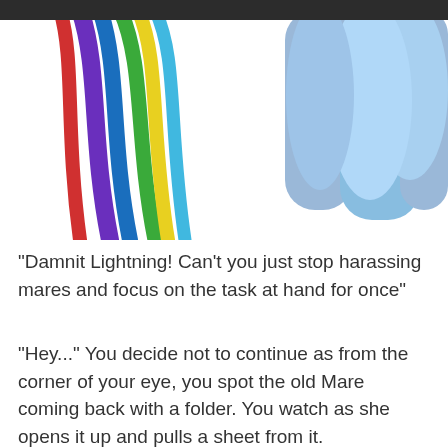[Figure (illustration): Partial illustration of a colorful cartoon pony (My Little Pony style) showing the upper body. The character has a rainbow-colored mane (blue, purple, red, yellow, green) and a light blue body/coat. The background is white.]
"Damnit Lightning! Can't you just stop harassing mares and focus on the task at hand for once"
"Hey..." You decide not to continue as from the corner of your eye, you spot the old Mare coming back with a folder. You watch as she opens it up and pulls a sheet from it.